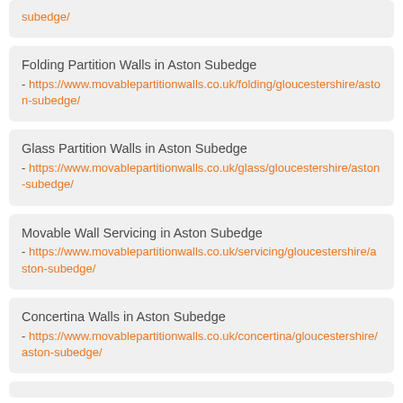subedge/ - https://www.movablepartitionwalls.co.uk/.../aston-subedge/
Folding Partition Walls in Aston Subedge - https://www.movablepartitionwalls.co.uk/folding/gloucestershire/aston-subedge/
Glass Partition Walls in Aston Subedge - https://www.movablepartitionwalls.co.uk/glass/gloucestershire/aston-subedge/
Movable Wall Servicing in Aston Subedge - https://www.movablepartitionwalls.co.uk/servicing/gloucestershire/aston-subedge/
Concertina Walls in Aston Subedge - https://www.movablepartitionwalls.co.uk/concertina/gloucestershire/aston-subedge/